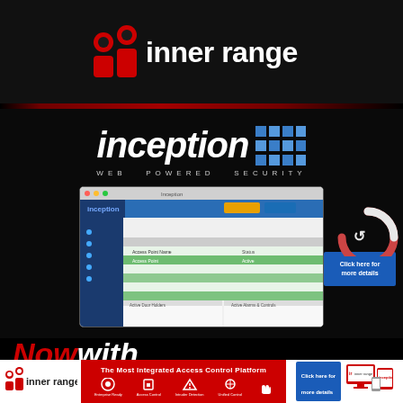[Figure (logo): Inner Range logo — red 'ir' icon with 'inner range' text in white on black background]
[Figure (logo): Inception logo — italic bold 'inception' text with blue grid dots, subtitle 'WEB POWERED SECURITY']
[Figure (screenshot): Dashboard screenshot of Inception web interface showing access control panels with green and blue highlighted rows]
Now with powerful integrations to
[Figure (infographic): Footer bar with Inner Range logo, tagline 'The Most Integrated Access Control Platform', icons for Enterprise Ready, Access Control, Intruder Detection, Unified Control, and click here button with device images]